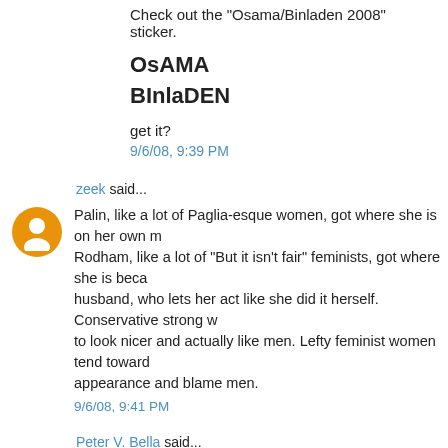Check out the "Osama/Binladen 2008" sticker.
OsAMA
BInlaDEN
get it?
9/6/08, 9:39 PM
zeek said...
Palin, like a lot of Paglia-esque women, got where she is on her own m... Rodham, like a lot of "But it isn't fair" feminists, got where she is beca... husband, who lets her act like she did it herself. Conservative strong w... to look nicer and actually like men. Lefty feminist women tend towar... appearance and blame men.
9/6/08, 9:41 PM
Peter V. Bella said...
Dogwood said...
I'm still not giving up on the union thing, though, I mean fringe benefi...